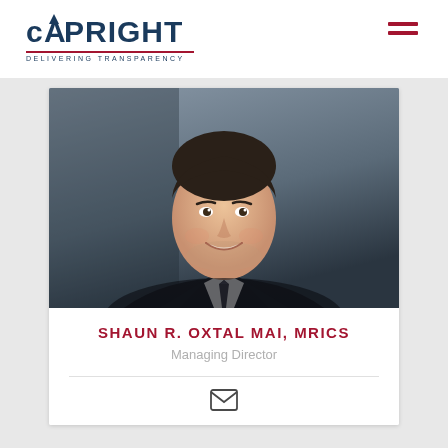[Figure (logo): Capright logo with tagline 'DELIVERING TRANSPARENCY' and red underline]
[Figure (photo): Professional headshot of a young man in a dark suit and tie, smiling, against a grey background]
SHAUN R. OXTAL MAI, MRICS
Managing Director